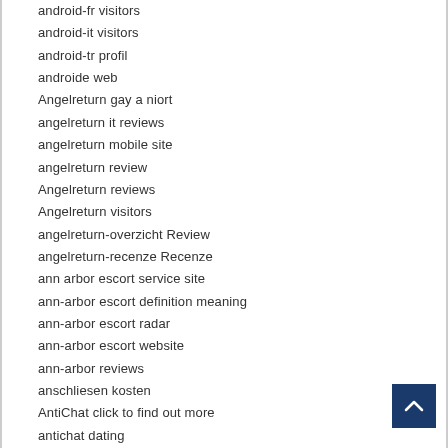android-fr visitors
android-it visitors
android-tr profil
androide web
Angelreturn gay a niort
angelreturn it reviews
angelreturn mobile site
angelreturn review
Angelreturn reviews
Angelreturn visitors
angelreturn-overzicht Review
angelreturn-recenze Recenze
ann arbor escort service site
ann-arbor escort definition meaning
ann-arbor escort radar
ann-arbor escort website
ann-arbor reviews
anschliesen kosten
AntiChat click to find out more
antichat dating
antichat habitent
antichat it reviews
AntiChat official website
antichat review
AntiChat reviews